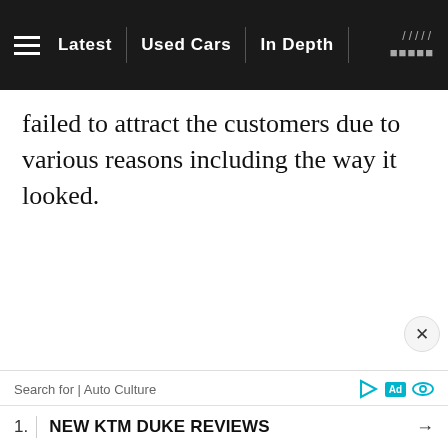Latest | Used Cars | In Depth
failed to attract the customers due to various reasons including the way it looked.
[Figure (screenshot): Advertisement bar with search label 'Search for | Auto Culture' and icons, followed by row '1. | NEW KTM DUKE REVIEWS →']